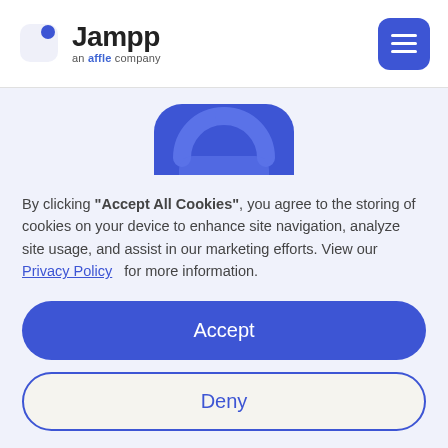[Figure (logo): Jampp logo — an affle company, with blue icon on left and hamburger menu button on right]
[Figure (illustration): Blue rounded square icon with a padlock/bag shape partially visible at the top of the cookie consent area]
By clicking "Accept All Cookies", you agree to the storing of cookies on your device to enhance site navigation, analyze site usage, and assist in our marketing efforts. View our Privacy Policy for more information.
Accept
Deny
Preferences